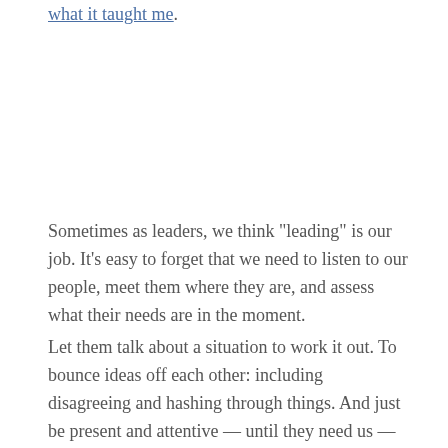what it taught me.
Sometimes as leaders, we think "leading" is our job. It's easy to forget that we need to listen to our people, meet them where they are, and assess what their needs are in the moment.
Let them talk about a situation to work it out. To bounce ideas off each other: including disagreeing and hashing through things. And just be present and attentive — until they need us — while